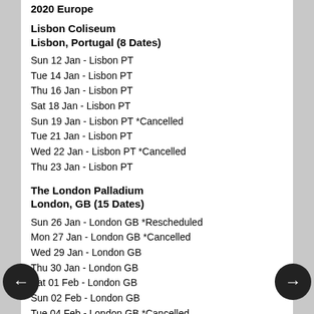2020 Europe
Lisbon Coliseum
Lisbon, Portugal (8 Dates)
Sun 12 Jan - Lisbon PT
Tue 14 Jan - Lisbon PT
Thu 16 Jan - Lisbon PT
Sat 18 Jan - Lisbon PT
Sun 19 Jan - Lisbon PT *Cancelled
Tue 21 Jan - Lisbon PT
Wed 22 Jan - Lisbon PT *Cancelled
Thu 23 Jan - Lisbon PT
The London Palladium
London, GB (15 Dates)
Sun 26 Jan - London GB *Rescheduled
Mon 27 Jan - London GB *Cancelled
Wed 29 Jan - London GB
Thu 30 Jan - London GB
Sat 01 Feb - London GB
Sun 02 Feb - London GB
Tue 04 Feb - London GB *Cancelled
Wed 05 Feb - London GB
Thu 06 Feb - London GB
Sat 08 Feb - London GB
Sun 09 Feb - London GB
Tue 11 Feb - London GB *Cancelled